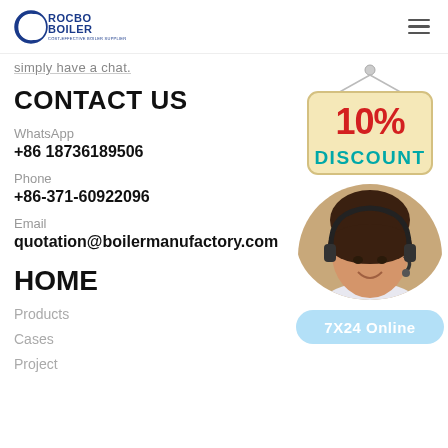ROCBO BOILER — COST-EFFECTIVE BOILER SUPPLIER
simply have a chat.
CONTACT US
WhatsApp
+86 18736189506
Phone
+86-371-60922096
Email
quotation@boilermanufactory.com
HOME
Products
Cases
Project
[Figure (illustration): 10% Discount sign hanging on a nail]
[Figure (photo): Customer service agent woman with headset smiling]
7X24 Online